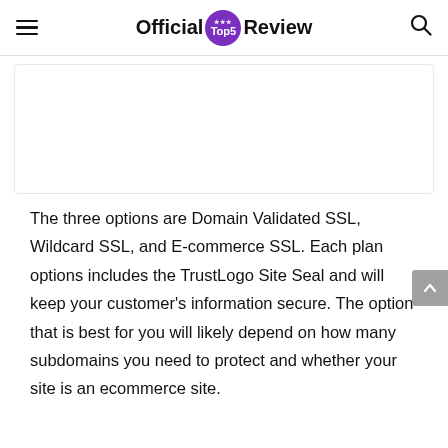Official Top5 Review
[Figure (other): Blank white image placeholder area]
The three options are Domain Validated SSL, Wildcard SSL, and E-commerce SSL. Each plan options includes the TrustLogo Site Seal and will keep your customer's information secure. The option that is best for you will likely depend on how many subdomains you need to protect and whether your site is an ecommerce site.